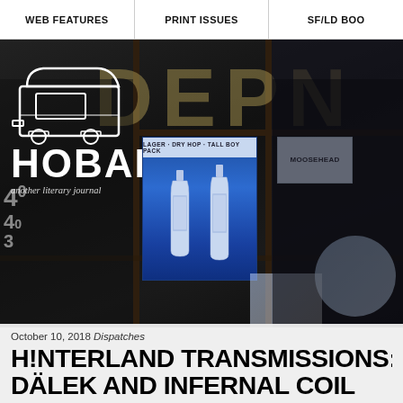WEB FEATURES | PRINT ISSUES | SF/LD BOO
[Figure (photo): Hero image of a store window with large letters D E R N visible, a Hobart literary journal logo (white truck illustration) and wordmark in white, a blue beer poster with bottles, a Moosehead sign, and address numbers 403 on the left side]
October 10, 2018 Dispatches
H!NTERLAND TRANSMISSIONS: S DÄLEK AND INFERNAL COIL